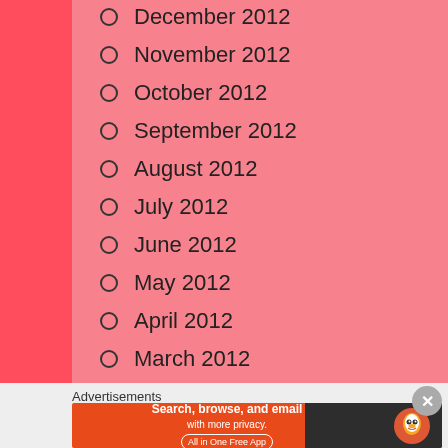December 2012
November 2012
October 2012
September 2012
August 2012
July 2012
June 2012
May 2012
April 2012
March 2012
February 2012
January 2012
Advertisements
[Figure (infographic): DuckDuckGo advertisement banner: 'Search, browse, and email with more privacy. All in One Free App' with DuckDuckGo duck logo on dark background]